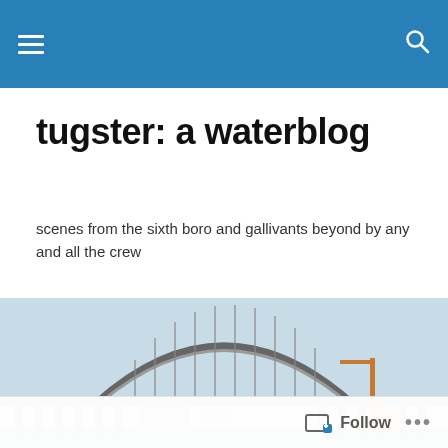tugster: a waterblog (navigation header bar)
tugster: a waterblog
scenes from the sixth boro and gallivants beyond by any and all the crew
[Figure (photo): Wide panoramic photo of a large steel arch bridge over water, with blue sky in the background and a construction crane visible on the right side.]
NYC Tugboat Race 2011 A
Here's 2010, 2009, and 2008. And here's 2007, when I ...